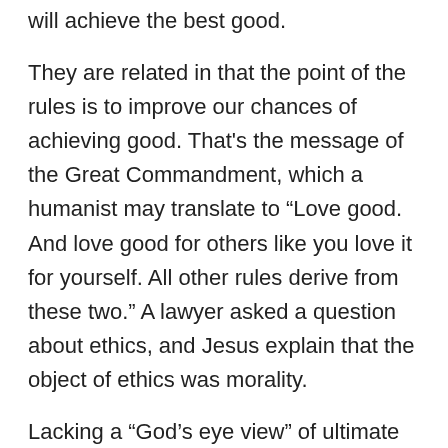will achieve the best good.
They are related in that the point of the rules is to improve our chances of achieving good. That's the message of the Great Commandment, which a humanist may translate to “Love good. And love good for others like you love it for yourself. All other rules derive from these two.” A lawyer asked a question about ethics, and Jesus explain that the object of ethics was morality.
Lacking a “God’s eye view” of ultimate outcomes, two good and honest persons may disagree as to the best rules for achieving the best good for everyone. And the rules and opinions about them are boundless. But their goal is the same, to satisfy their moral intent.